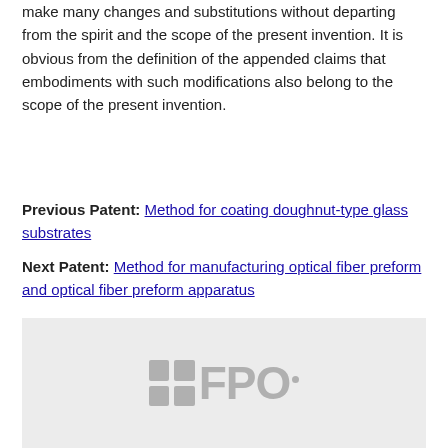make many changes and substitutions without departing from the spirit and the scope of the present invention. It is obvious from the definition of the appended claims that embodiments with such modifications also belong to the scope of the present invention.
Previous Patent: Method for coating doughnut-type glass substrates
Next Patent: Method for manufacturing optical fiber preform and optical fiber preform apparatus
[Figure (logo): FPO logo mark with grid icon and stylized text 'FPO' with registered trademark dot, displayed on a light gray background]